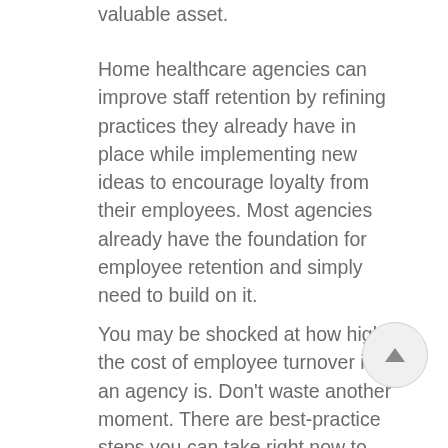valuable asset.
Home healthcare agencies can improve staff retention by refining practices they already have in place while implementing new ideas to encourage loyalty from their employees. Most agencies already have the foundation for employee retention and simply need to build on it.
You may be shocked at how high the cost of employee turnover in an agency is. Don’t waste another moment. There are best-practice steps you can take right now to stop losing